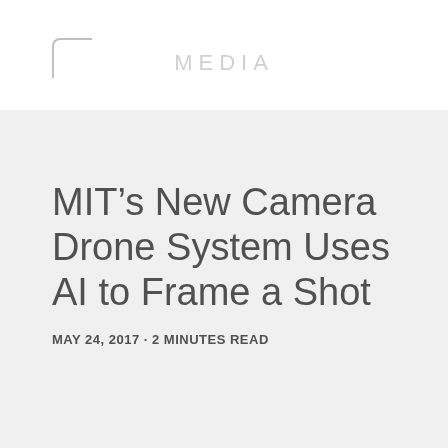MEDIA
MIT’s New Camera Drone System Uses AI to Frame a Shot
MAY 24, 2017 · 2 MINUTES READ